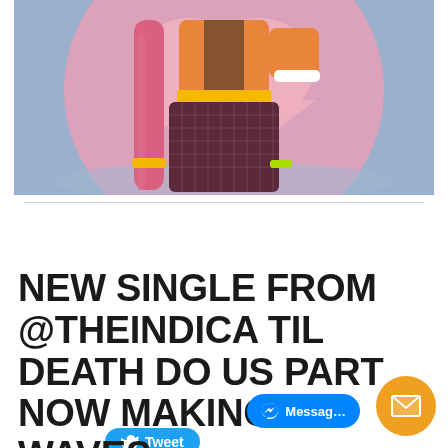[Figure (illustration): Anime-style illustration of a female character with long pink braided hair, wearing fishnet stockings, an orange jacket, and colorful accessories, posed in front of a large pink heart on a blue/purple background.]
[Figure (screenshot): Tweet button with Twitter bird icon and the word 'Tweet' on a blue pill-shaped button.]
NEW SINGLE FROM @THEINDICA TIL DEATH DO US PART NOW MAKING WAVES @ATLWEBRADIO